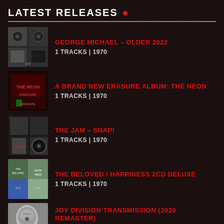LATEST RELEASES .
GEORGE MICHAEL – OLDER 2022 | 1 TRACKS | 1970
A BRAND NEW ERASURE ALBUM: THE NEON | 1 TRACKS | 1970
THE JAM – SNAP! | 1 TRACKS | 1970
THE BELOVED / HAPPINESS 2CD DELUXE | 1 TRACKS | 1970
JOY DIVISION TRANSMISSION (2020 REMASTER) [VINYL] | 1 TRACKS | 1970
FEATURED ARTISTS .